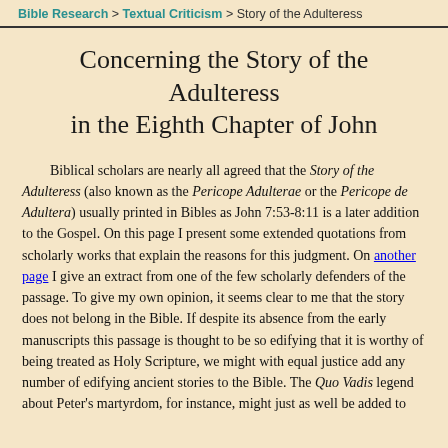Bible Research > Textual Criticism > Story of the Adulteress
Concerning the Story of the Adulteress in the Eighth Chapter of John
Biblical scholars are nearly all agreed that the Story of the Adulteress (also known as the Pericope Adulterae or the Pericope de Adultera) usually printed in Bibles as John 7:53-8:11 is a later addition to the Gospel. On this page I present some extended quotations from scholarly works that explain the reasons for this judgment. On another page I give an extract from one of the few scholarly defenders of the passage. To give my own opinion, it seems clear to me that the story does not belong in the Bible. If despite its absence from the early manuscripts this passage is thought to be so edifying that it is worthy of being treated as Holy Scripture, we might with equal justice add any number of edifying ancient stories to the Bible. The Quo Vadis legend about Peter's martyrdom, for instance, might just as well be added to